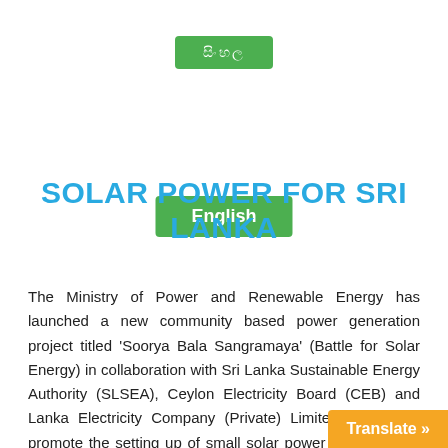[Figure (other): Green button with Sinhala script text]
[Figure (other): Green button labeled English]
SOLAR POWER FOR SRI LANKA
The Ministry of Power and Renewable Energy has launched a new community based power generation project titled ‘Soorya Bala Sangramaya’ (Battle for Solar Energy) in collaboration with Sri Lanka Sustainable Energy Authority (SLSEA), Ceylon Electricity Board (CEB) and Lanka Electricity Company (Private) Limited (LECO) to promote the setting up of small solar power plants on the rooftops of households, religious places, hotels, commercial establishments and industries. It is expected to add 200 MW of solar e
[Figure (other): Orange Translate button in bottom right corner]